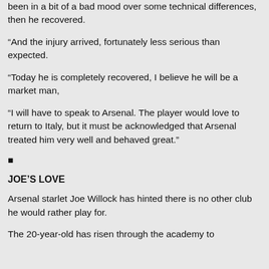been in a bit of a bad mood over some technical differences, then he recovered.
“And the injury arrived, fortunately less serious than expected.
“Today he is completely recovered, I believe he will be a market man,
“I will have to speak to Arsenal. The player would love to return to Italy, but it must be acknowledged that Arsenal treated him very well and behaved great.”
■
JOE’S LOVE
Arsenal starlet Joe Willock has hinted there is no other club he would rather play for.
The 20-year-old has risen through the academy to